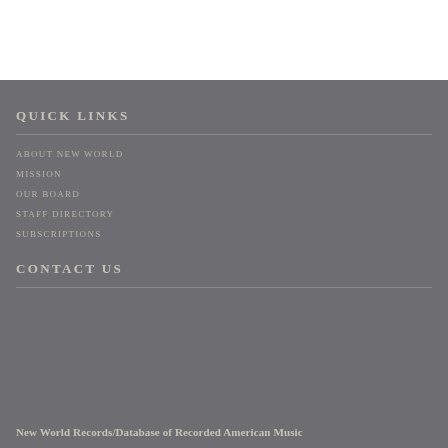QUICK LINKS
ABOUT NEW WORLD
MISSION
OUR BOARD
STAFF DIRECTORY
SUBSCRIPTIONS
CONTACT US
New World Records/Database of Recorded American Music